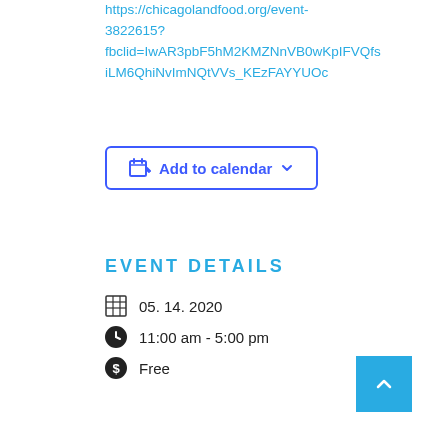https://chicagolandfood.org/event-3822615?fbclid=IwAR3pbF5hM2KMZNnVB0wKpIFVQfsiLM6QhiNvImNQtVVs_KEzFAYYUOc
Add to calendar
EVENT DETAILS
05. 14. 2020
11:00 am - 5:00 pm
Free